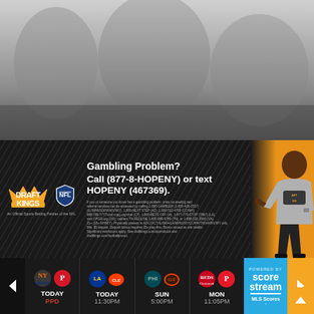[Figure (screenshot): Top portion showing blurred sports/dark background image (upper ~200px)]
[Figure (infographic): DraftKings NFL sports betting advertisement banner. Shows DraftKings crown logo with NFL shield, text reads 'Gambling Problem? Call (877-8-HOPENY) or text HOPENY (467369).' followed by fine print about gambling counseling resources. Features a man (Kevin Hart) in a gray t-shirt pointing at the DraftKings logo on an orange background.]
Gambling Problem?
Call (877-8-HOPENY) or text HOPENY (467369).
[Figure (infographic): Sports scores carousel showing: NY Mets vs Philadelphia Phillies TODAY PPD; another game TODAY 11:30PM; Philadelphia Eagles vs Cleveland Browns SUN 5:00PM; Cincinnati Reds vs Philadelphia Phillies MON 11:05PM. Right side shows 'POWERED BY score stream' in blue panel and 'MLS Scores' below. Left and right navigation arrows visible.]